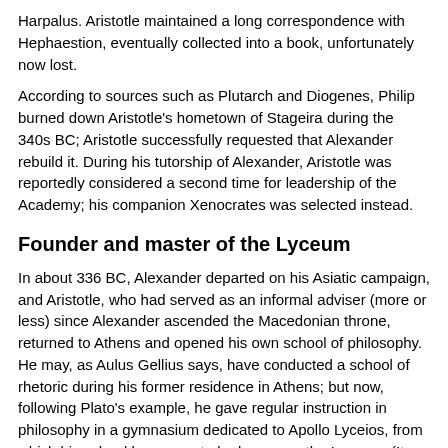Harpalus. Aristotle maintained a long correspondence with Hephaestion, eventually collected into a book, unfortunately now lost.
According to sources such as Plutarch and Diogenes, Philip burned down Aristotle's hometown of Stageira during the 340s BC; Aristotle successfully requested that Alexander rebuild it. During his tutorship of Alexander, Aristotle was reportedly considered a second time for leadership of the Academy; his companion Xenocrates was selected instead.
Founder and master of the Lyceum
In about 336 BC, Alexander departed on his Asiatic campaign, and Aristotle, who had served as an informal adviser (more or less) since Alexander ascended the Macedonian throne, returned to Athens and opened his own school of philosophy. He may, as Aulus Gellius says, have conducted a school of rhetoric during his former residence in Athens; but now, following Plato's example, he gave regular instruction in philosophy in a gymnasium dedicated to Apollo Lyceios, from which his school has come to be known as the Lyceum. (It was also called the Peripatetic School because Aristotle preferred to discuss problems of philosophy with his pupils while walking around -- peripateo -- the shaded walks -- peripatoi -- surrounding the gymnasium).
During the thirteen years (335 BC–322 BC) which he spent as head of the Lyceum, Aristotle composed most of his writings. Imitating Plato, he wrote